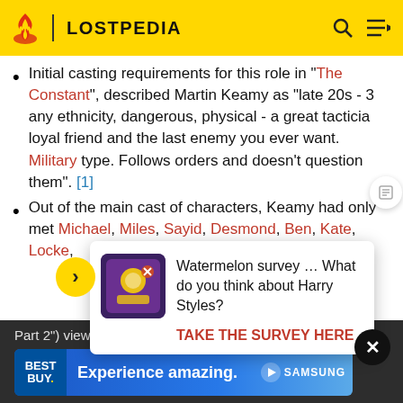LOSTPEDIA
Initial casting requirements for this role in "The Constant", described Martin Keamy as "late 20s - 3 any ethnicity, dangerous, physical - a great tacticia loyal friend and the last enemy you ever want. Military type. Follows orders and doesn't question them". [1]
Out of the main cast of characters, Keamy had only met Michael, Miles, Sayid, Desmond, Ben, Kate, Locke,
[Figure (screenshot): Advertisement popup overlay: Watermelon survey asking about Harry Potter with a yellow/purple graphic, TAKE THE SURVEY HERE CTA]
Part 2") viewed him from the cover of Ben's ho Things
[Figure (screenshot): Best Buy advertisement banner: Experience amazing. SAMSUNG]